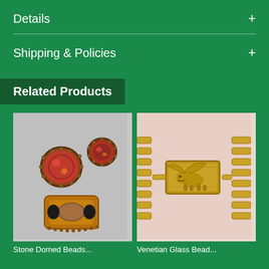Details +
Shipping & Policies +
Related Products
[Figure (photo): Two round fire opal earrings with copper/bronze settings and a copper cuff bracelet with black oval stones, on gray background]
[Figure (photo): Close-up of a gold chain necklace with an engraved rectangular clasp featuring a winged lion figure, on pink/flesh background]
Stone Domed Beads...
Venetian Glass Bead...